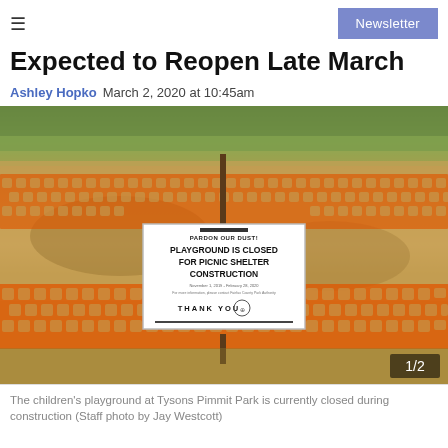≡  Newsletter
Expected to Reopen Late March
Ashley Hopko  March 2, 2020 at 10:45am
[Figure (photo): Orange construction fence with a sign reading 'PARDON OUR DUST! PLAYGROUND IS CLOSED FOR PICNIC SHELTER CONSTRUCTION. THANK YOU' posted at Tysons Pimmit Park. Image counter shows 1/2.]
The children's playground at Tysons Pimmit Park is currently closed during construction (Staff photo by Jay Westcott)